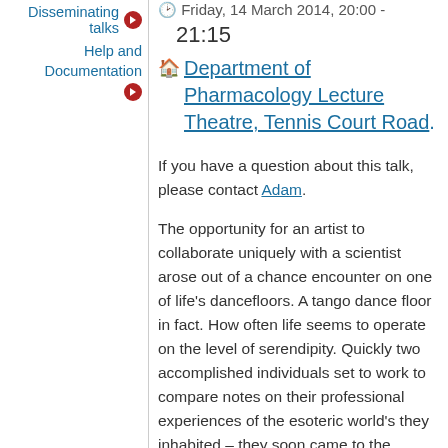Disseminating talks →
Help and Documentation →
Friday, 14 March 2014, 20:00 - 21:15
🏠 Department of Pharmacology Lecture Theatre, Tennis Court Road.
If you have a question about this talk, please contact Adam.
The opportunity for an artist to collaborate uniquely with a scientist arose out of a chance encounter on one of life's dancefloors. A tango dance floor in fact. How often life seems to operate on the level of serendipity. Quickly two accomplished individuals set to work to compare notes on their professional experiences of the esoteric world's they inhabited – they soon came to the realisation that despite their apparent differences they were uniquely describing the same world, but from very specialist and different viewpoints. Perspectives which